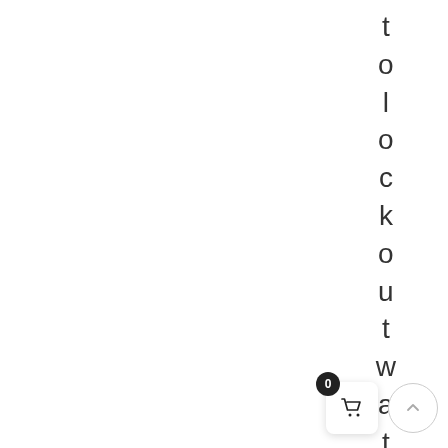tolockoutwater
[Figure (illustration): Shopping cart button with badge showing 0, and an up-arrow circle button in the bottom right corner]